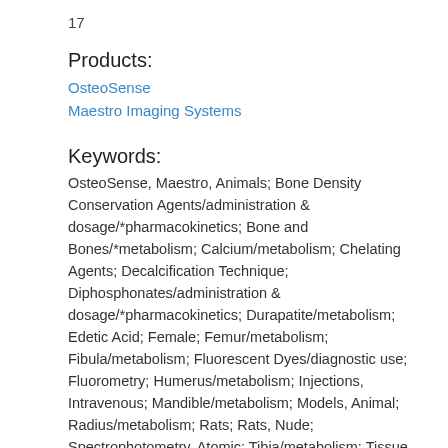17
Products:
OsteoSense
Maestro Imaging Systems
Keywords:
OsteoSense, Maestro, Animals; Bone Density Conservation Agents/administration & dosage/*pharmacokinetics; Bone and Bones/*metabolism; Calcium/metabolism; Chelating Agents; Decalcification Technique; Diphosphonates/administration & dosage/*pharmacokinetics; Durapatite/metabolism; Edetic Acid; Female; Femur/metabolism; Fibula/metabolism; Fluorescent Dyes/diagnostic use; Fluorometry; Humerus/metabolism; Injections, Intravenous; Mandible/metabolism; Models, Animal; Radius/metabolism; Rats; Rats, Nude; Spectrophotometry, Atomic; Tibia/metabolism; Tissue Distribution; Ulna/metabolism